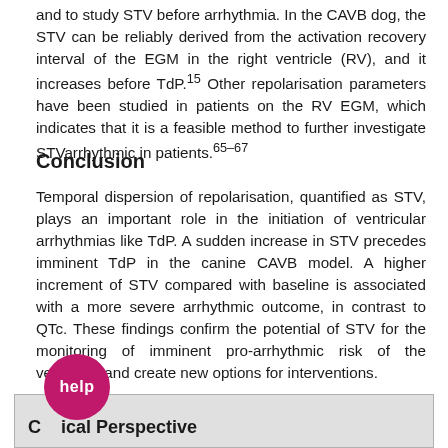and to study STV before arrhythmia. In the CAVB dog, the STV can be reliably derived from the activation recovery interval of the EGM in the right ventricle (RV), and it increases before TdP.15 Other repolarisation parameters have been studied in patients on the RV EGM, which indicates that it is a feasible method to further investigate STVarrhythmic in patients.65–67
Conclusion
Temporal dispersion of repolarisation, quantified as STV, plays an important role in the initiation of ventricular arrhythmias like TdP. A sudden increase in STV precedes imminent TdP in the canine CAVB model. A higher increment of STV compared with baseline is associated with a more severe arrhythmic outcome, in contrast to QTc. These findings confirm the potential of STV for the monitoring of imminent pro-arrhythmic risk of the ventricles and create new options for interventions.
Clinical Perspective